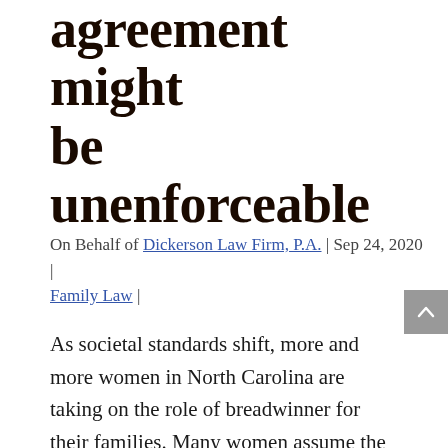agreement might be unenforceable
On Behalf of Dickerson Law Firm, P.A. | Sep 24, 2020 | Family Law |
As societal standards shift, more and more women in North Carolina are taking on the role of breadwinner for their families. Many women assume the role of the higher earner before marriage, bringing with them retirement savings, bank accounts and other valuable assets. Protecting these assets is an important step for women who